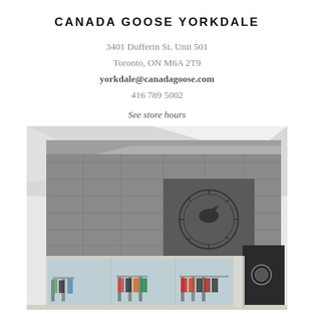CANADA GOOSE YORKDALE
3401 Dufferin St. Unit 501
Toronto, ON M6A 2T9
yorkdale@canadagoose.com
416 789 5002
See store hours
[Figure (photo): Exterior view of Canada Goose Yorkdale store inside a mall. Features a large concrete-textured facade with the Canada Goose circular logo embossed on the front. The lower level has glass storefronts showing merchandise inside, including colorful jackets.]